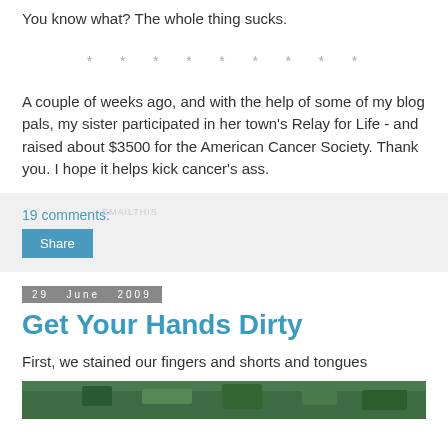You know what? The whole thing sucks.
* * * * * * * * *
A couple of weeks ago, and with the help of some of my blog pals, my sister participated in her town's Relay for Life - and raised about $3500 for the American Cancer Society. Thank you. I hope it helps kick cancer's ass.
19 comments:
Share
29 June 2009
Get Your Hands Dirty
First, we stained our fingers and shorts and tongues
[Figure (photo): Bottom strip of a photo showing green foliage/outdoors scene]